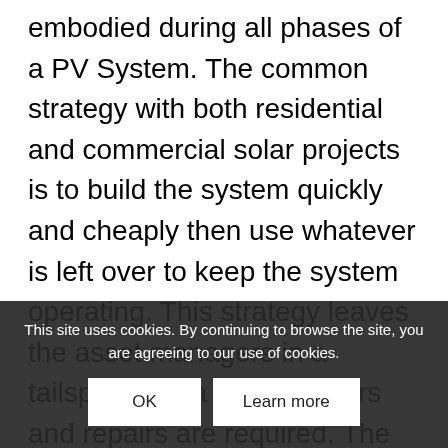embodied during all phases of a PV System. The common strategy with both residential and commercial solar projects is to build the system quickly and cheaply then use whatever is left over to keep the system operating. This strategy leaves the asset managers in a tailspin once a failure occurs and repairs are required. The expenses are often unaccounted for and the responsible party is not always clearly defined. Poor planning creates a disruption for all parties involved. Looking at Operations and Maintenance budgets as an obligation rather than an unexpected expense is necessary for long term longevity.
This site uses cookies. By continuing to browse the site, you are agreeing to our use of cookies.